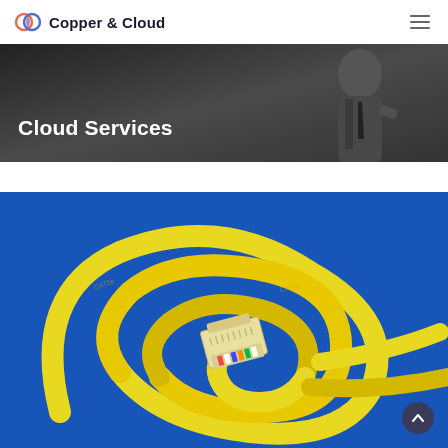Copper & Cloud
[Figure (photo): Hero banner with dark background showing a person in a suit, overlaid with bold white text 'Cloud Services']
Cloud Services
[Figure (photo): Close-up photograph of a yellow Ethernet network cable with RJ-45 connector on a blue background]